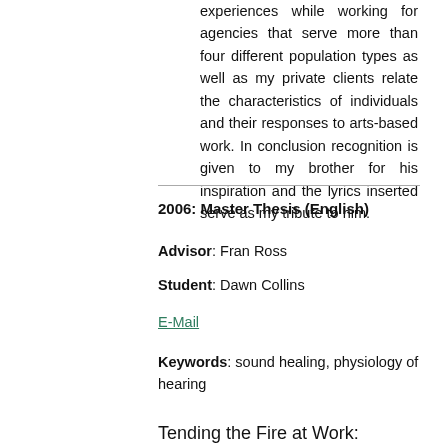experiences while working for agencies that serve more than four different population types as well as my private clients relate the characteristics of individuals and their responses to arts-based work. In conclusion recognition is given to my brother for his inspiration and the lyrics inserted serve as my tribute to him.
2006: Master Thesis (English)
Advisor: Fran Ross
Student: Dawn Collins
E-Mail
Keywords: sound healing, physiology of hearing
Tending the Fire at Work: